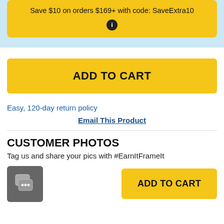Save $10 on orders $169+ with code: SaveExtra10
[Figure (other): Add to Cart button (large, yellow)]
Easy, 120-day return policy
Email This Product
CUSTOMER PHOTOS
Tag us and share your pics with #EarnItFrameIt
[Figure (other): Chat/comment icon in grey square box]
[Figure (other): Add to Cart button (small, yellow)]